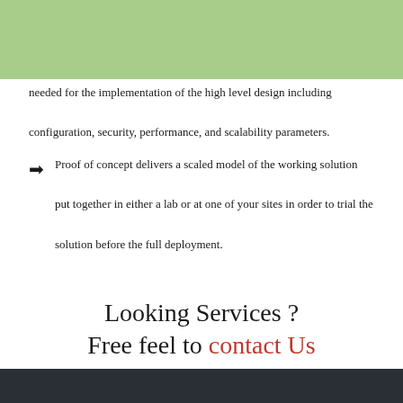needed for the implementation of the high level design including configuration, security, performance, and scalability parameters.
Proof of concept delivers a scaled model of the working solution put together in either a lab or at one of your sites in order to trial the solution before the full deployment.
Looking Services ?
Free feel to contact Us